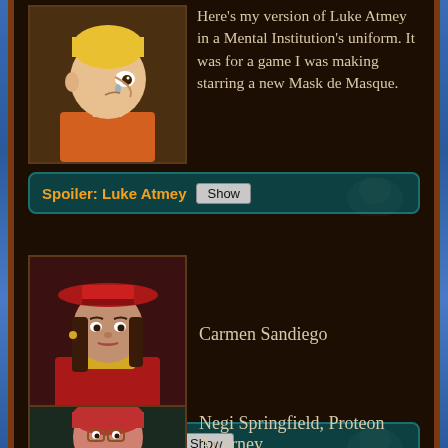[Figure (illustration): Pixel art avatar of Luke Atmey character in orange uniform, facing right with tear, yellow hair]
Here's my version of Luke Atmey in a Mental Institution's uniform. It was for a game I was making starring a new Mask de Masque.
Spoiler: Luke Atmey [Show]
[Figure (illustration): Pixel art avatar of Carmen Sandiego character in red coat and hat]
Carmen Sandiego
Spoiler: Ace Theif [Show]
[Figure (illustration): Pixel art avatar of Negi Springfield character with red hair and glasses]
Negi Springfield, Proteon Attorney